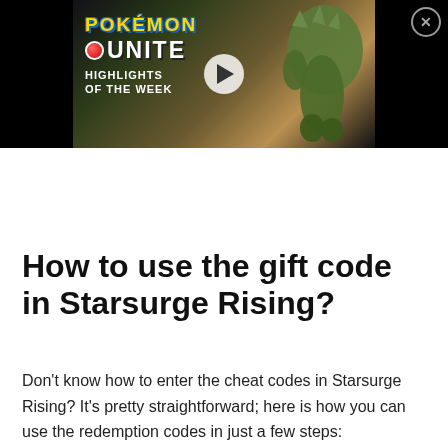[Figure (screenshot): A video thumbnail showing Pokémon UNITE Highlights of the Week, featuring a green Tyranitar-like monster on a dark background, with a play button overlay and a close (X) button in the top right corner.]
How to use the gift code in Starsurge Rising?
Don't know how to enter the cheat codes in Starsurge Rising? It's pretty straightforward; here is how you can use the redemption codes in just a few steps: